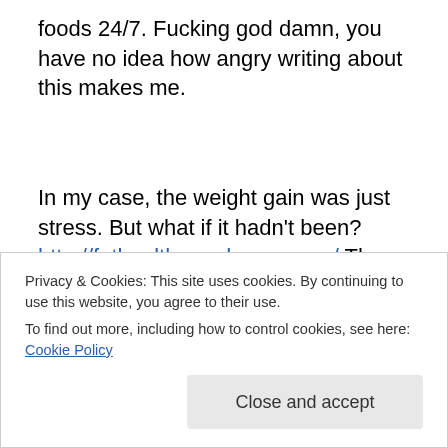foods 24/7. Fucking god damn, you have no idea how angry writing about this makes me.
In my case, the weight gain was just stress. But what if it hadn't been?
http://fathealth.wordpress.com/ The website First Do No Harm chronicles what happens when the weight gain isn't just stress. When the doctor means well, like a fifteen
seriously wrong. Even moreso when, again, your eating
Privacy & Cookies: This site uses cookies. By continuing to use this website, you agree to their use.
To find out more, including how to control cookies, see here: Cookie Policy
Close and accept